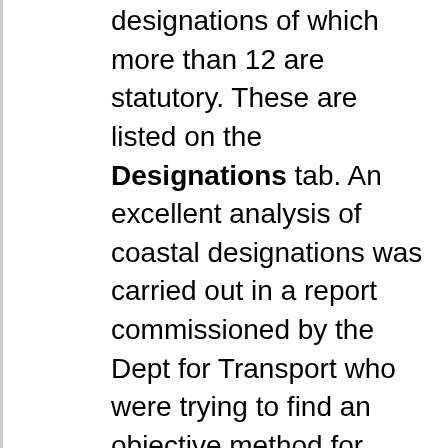designations of which more than 12 are statutory. These are listed on the Designations tab. An excellent analysis of coastal designations was carried out in a report commissioned by the Dept for Transport who were trying to find an objective method for selecting the Marine Environmental High Risk Areas (MEHRAS) proposed by Lord Donaldson after the Braer accident in Shetland. The report has disappeared from Government records, so you can click on the link below to download the copy which I kept.
MEHRAFULL